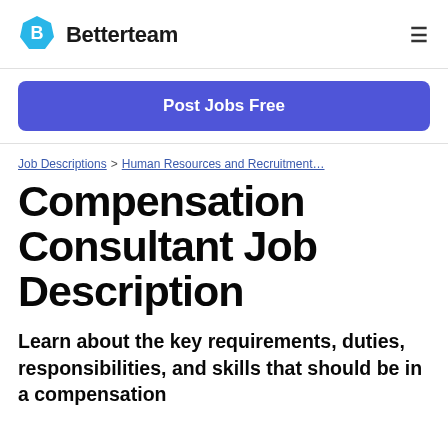Betterteam
[Figure (logo): Betterteam logo with blue hexagon icon and bold text]
Post Jobs Free
Job Descriptions > Human Resources and Recruitment...
Compensation Consultant Job Description
Learn about the key requirements, duties, responsibilities, and skills that should be in a compensation